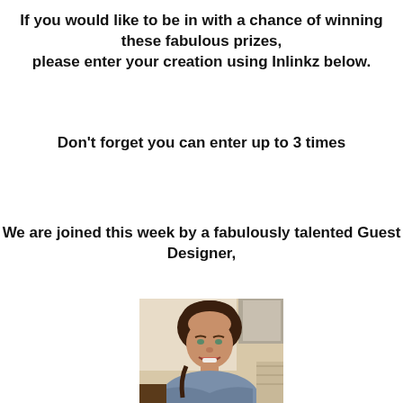If you would like to be in with a chance of winning these fabulous prizes, please enter your creation using Inlinkz below.
Don't forget you can enter up to 3 times
We are joined this week by a fabulously talented Guest Designer,
[Figure (photo): Portrait photo of a middle-aged woman with short dark hair, smiling, wearing a necklace and patterned top]